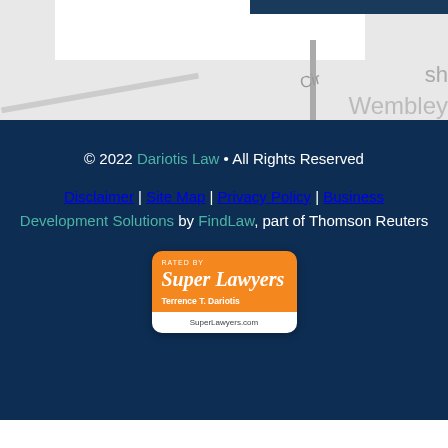[Figure (map): Partial map screenshot with road overlay, 'Cir', 'sh', and 'Wembley' text visible]
© 2022 Dariotis Law • All Rights Reserved
Disclaimer | Site Map | Privacy Policy | Business Development Solutions by FindLaw, part of Thomson Reuters
[Figure (logo): Super Lawyers badge - Rated By Super Lawyers, Terrence T. Dariotis, SuperLawyers.com]